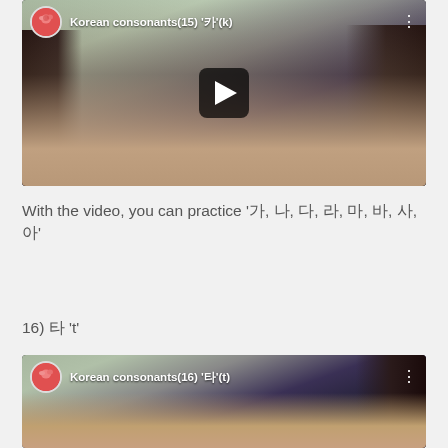[Figure (screenshot): YouTube video thumbnail showing Korean consonants(15) '카'(k) with a woman's face and play button]
With the video, you can practice '가, 나, 다, 라, 마, 바, 사, 아'
16) 타 't'
[Figure (screenshot): YouTube video thumbnail showing Korean consonants(16) '타'(t) with a woman's face]